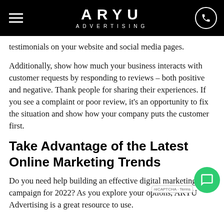ARYU ADVERTISING
testimonials on your website and social media pages.
Additionally, show how much your business interacts with customer requests by responding to reviews – both positive and negative. Thank people for sharing their experiences. If you see a complaint or poor review, it's an opportunity to fix the situation and show how your company puts the customer first.
Take Advantage of the Latest Online Marketing Trends
Do you need help building an effective digital marketing campaign for 2022? As you explore your options, ARYU Advertising is a great resource to use.